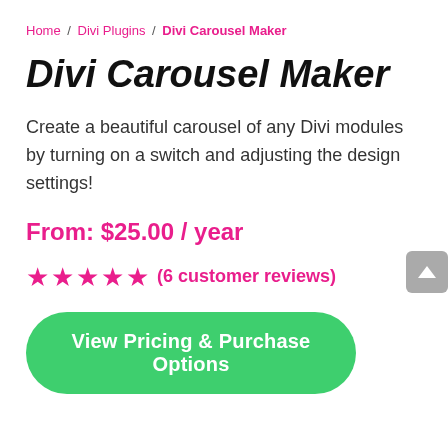Home / Divi Plugins / Divi Carousel Maker
Divi Carousel Maker
Create a beautiful carousel of any Divi modules by turning on a switch and adjusting the design settings!
From: $25.00 / year
★★★★★ (6 customer reviews)
View Pricing & Purchase Options